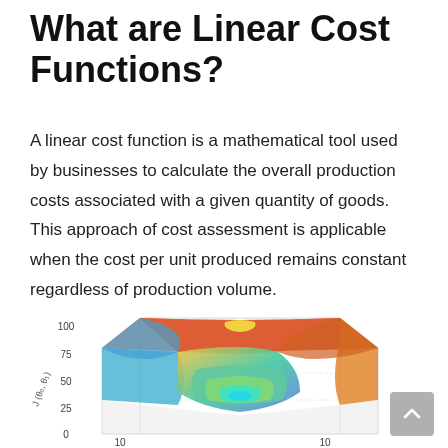What are Linear Cost Functions?
A linear cost function is a mathematical tool used by businesses to calculate the overall production costs associated with a given quantity of goods. This approach of cost assessment is applicable when the cost per unit produced remains constant regardless of production volume.
[Figure (continuous-plot): 3D surface plot of a cost function J(θ₀, θ₁) showing a bowl-shaped (convex) surface with values ranging from 0 to 100 on the vertical axis and approximately -10 to 10 on both horizontal axes. The surface is colored with a spectrum from blue/cyan at the bottom minimum to yellow/red at the peaks.]